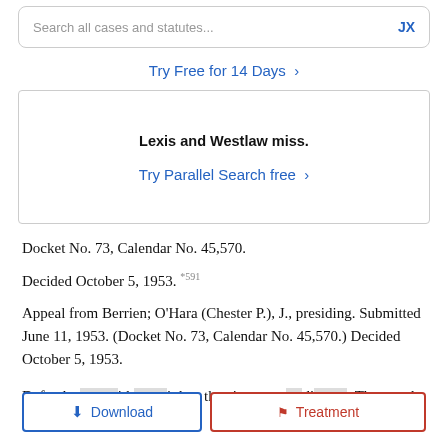Search all cases and statutes...
Try Free for 14 Days >
Lexis and Westlaw miss.
Try Parallel Search free >
Docket No. 73, Calendar No. 45,570.
Decided October 5, 1953. *591
Appeal from Berrien; O'Hara (Chester P.), J., presiding. Submitted June 11, 1953. (Docket No. 73, Calendar No. 45,570.) Decided October 5, 1953.
Defendant [covered] with [covered] violate the cigarette [covered] di[covered]. The people appeal. Affirmed.